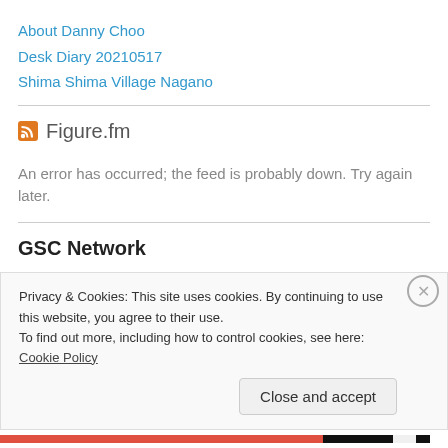About Danny Choo
Desk Diary 20210517
Shima Shima Village Nagano
Figure.fm
An error has occurred; the feed is probably down. Try again later.
GSC Network
[Figure (screenshot): Black Rock Shooter banner image with Japanese text on black background]
Privacy & Cookies: This site uses cookies. By continuing to use this website, you agree to their use.
To find out more, including how to control cookies, see here: Cookie Policy
Close and accept